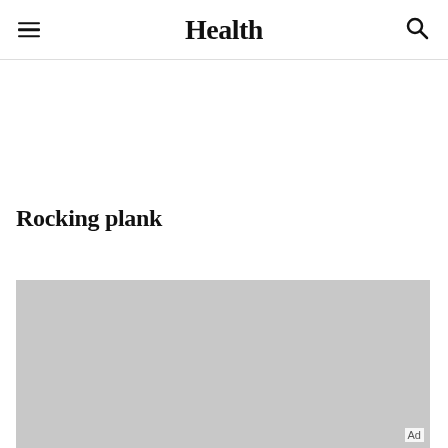Health
Rocking plank
[Figure (photo): Gray placeholder image for rocking plank exercise photo]
Ad